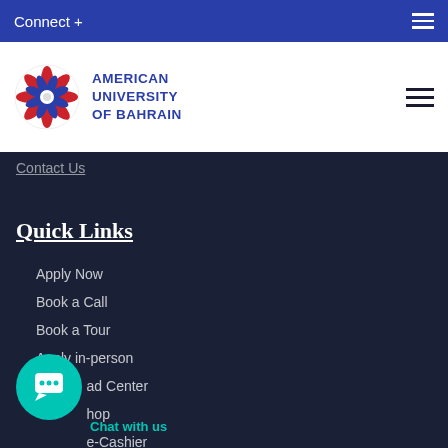Connect +
[Figure (logo): American University of Bahrain logo with decorative circular emblem in red, white, and blue, alongside text AMERICAN UNIVERSITY OF BAHRAIN]
Contact Us
Quick Links
Apply Now
Book a Call
Book a Tour
Apply in-person
Download Center
Online Shop
e-Cashier
Chat with us